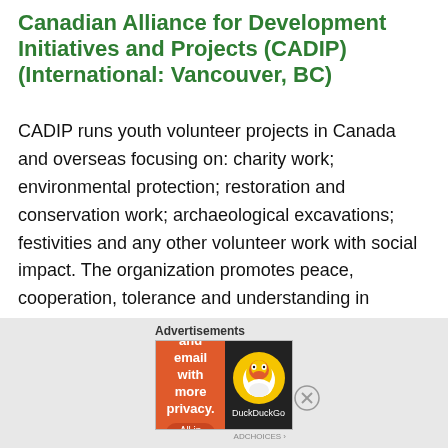Canadian Alliance for Development Initiatives and Projects (CADIP) (International: Vancouver, BC)
CADIP runs youth volunteer projects in Canada and overseas focusing on: charity work; environmental protection; restoration and conservation work; archaeological excavations; festivities and any other volunteer work with social impact. The organization promotes peace, cooperation, tolerance and understanding in international, multi-ethnic, multi-cultural surroundings. It also promotes patterns and examples of civil activities focused on serving others, building social ties and strengthening communities, and supporting civil society
Advertisements
[Figure (other): DuckDuckGo advertisement banner: orange section reads 'Search, browse, and email with more privacy. All in One Free App'; black section shows DuckDuckGo duck logo.]